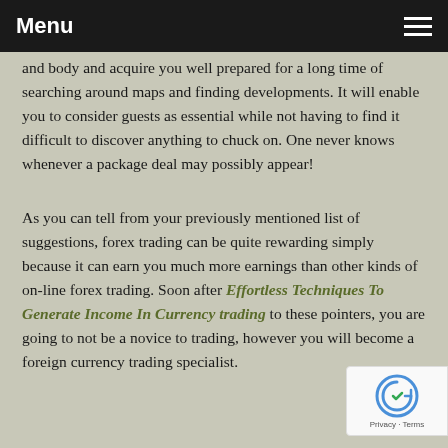Menu
and body and acquire you well prepared for a long time of searching around maps and finding developments. It will enable you to consider guests as essential while not having to find it difficult to discover anything to chuck on. One never knows whenever a package deal may possibly appear!
As you can tell from your previously mentioned list of suggestions, forex trading can be quite rewarding simply because it can earn you much more earnings than other kinds of on-line forex trading. Soon after Effortless Techniques To Generate Income In Currency trading to these pointers, you are going to not be a novice to trading, however you will become a foreign currency trading specialist.